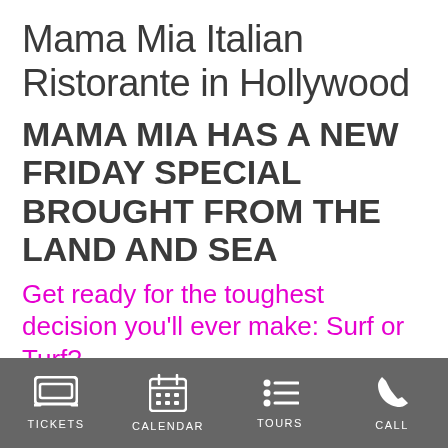Mama Mia Italian Ristorante in Hollywood
MAMA MIA HAS A NEW FRIDAY SPECIAL BROUGHT FROM THE LAND AND SEA
Get ready for the toughest decision you'll ever make: Surf or Turf?
Mama Mia Italian Ristorante has been providing the Hollywood community with
TICKETS   CALENDAR   TOURS   CALL